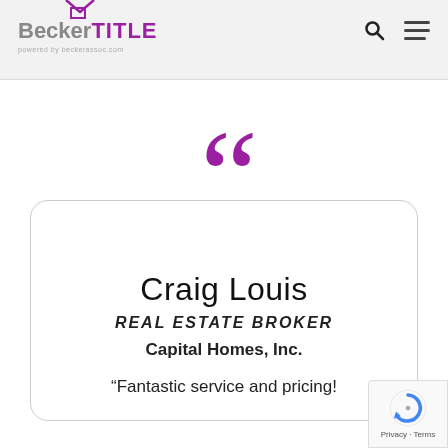Becker TITLE
[Figure (logo): Becker TITLE logo with house roof graphic above the text]
Craig Louis
REAL ESTATE BROKER
Capital Homes, Inc.
“Fantastic service and pricing!